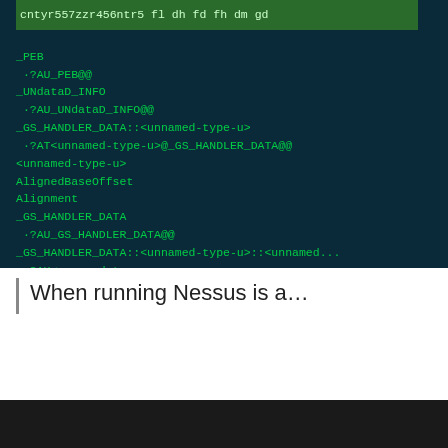[Figure (screenshot): Terminal/debugger screenshot showing green monospace text on dark teal background with type/symbol names including _PEB, ?AU_PEB@@, _UNdataD_INFO, ?AU_UNdataD_INFO@@, _GS_HANDLER_DATA::<unnamed-type-u>, ?AT<unnamed-type-u>@_GS_HANDLER_DATA@@, <unnamed-type-u>, AlignedBaseOffset, Alignment, _GS_HANDLER_DATA, ?AU_GS_HANDLER_DATA@@, _GS_HANDLER_DATA::<unnamed-type-u>::<unnamed...>, with highlighted row at top reading: cntyr557zzr456ntr5 fl dh fd fh dm gd]
When running Nessus is a...